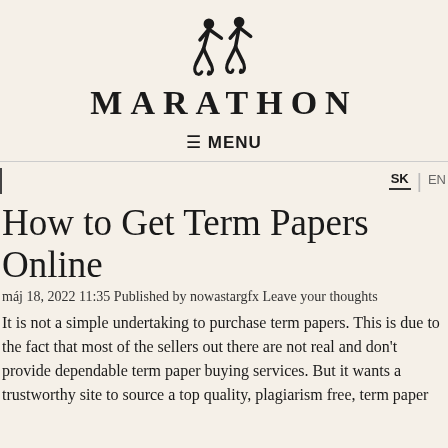[Figure (logo): Marathon website logo: two running figure icons in black silhouette]
MARATHON
≡ MENU
SK | EN
How to Get Term Papers Online
máj 18, 2022 11:35 Published by nowastargfx Leave your thoughts
It is not a simple undertaking to purchase term papers. This is due to the fact that most of the sellers out there are not real and don't provide dependable term paper buying services. But it wants a trustworthy site to source a top quality, plagiarism free, term paper